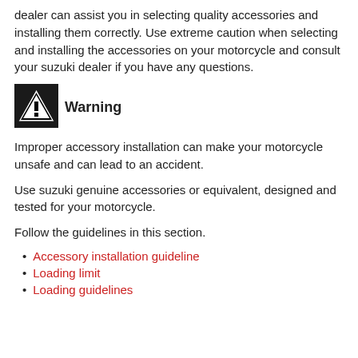dealer can assist you in selecting quality accessories and installing them correctly. Use extreme caution when selecting and installing the accessories on your motorcycle and consult your suzuki dealer if you have any questions.
[Figure (illustration): Warning triangle icon with exclamation mark]
Warning
Improper accessory installation can make your motorcycle unsafe and can lead to an accident.
Use suzuki genuine accessories or equivalent, designed and tested for your motorcycle.
Follow the guidelines in this section.
Accessory installation guideline
Loading limit
Loading guidelines